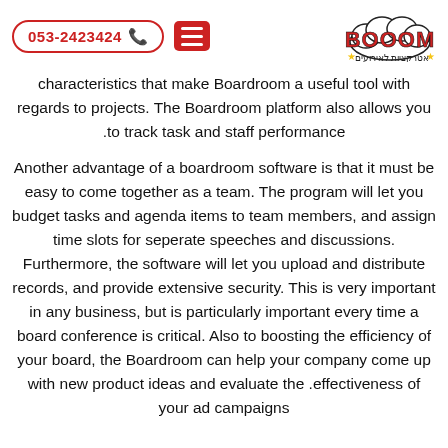053-2423424 | [hamburger menu] | BOOOM logo | אטרקציות לאירועים
characteristics that make Boardroom a useful tool with regards to projects. The Boardroom platform also allows you to track task and staff performance.
Another advantage of a boardroom software is that it must be easy to come together as a team. The program will let you budget tasks and agenda items to team members, and assign time slots for seperate speeches and discussions. Furthermore, the software will let you upload and distribute records, and provide extensive security. This is very important in any business, but is particularly important every time a board conference is critical. Also to boosting the efficiency of your board, the Boardroom can help your company come up with new product ideas and evaluate the effectiveness of your ad campaigns.